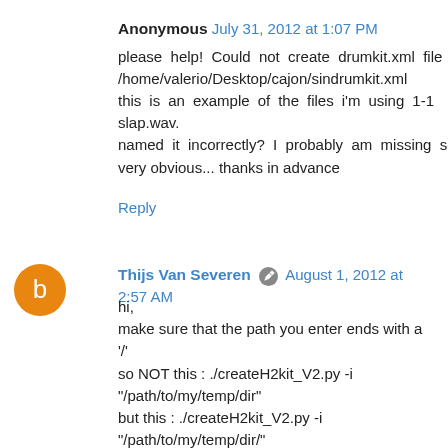Anonymous July 31, 2012 at 1:07 PM
please help! Could not create drumkit.xml file /home/valerio/Desktop/cajon/sindrumkit.xml
this is an example of the files i'm using 1-1 slap.wav.
named it incorrectly? I probably am missing something very obvious... thanks in advance
Reply
Thijs Van Severen August 1, 2012 at 2:57 AM
hi,
make sure that the path you enter ends with a '/'
so NOT this : ./createH2kit_V2.py -i "/path/to/my/temp/dir"
but this : ./createH2kit_V2.py -i "/path/to/my/temp/dir/"

if that doesnt help run the script with the -v (verbose) option
like this : ./createH2kit_V2.py -v -i "/path/to/my/temp/dir/"

let me know if this helps